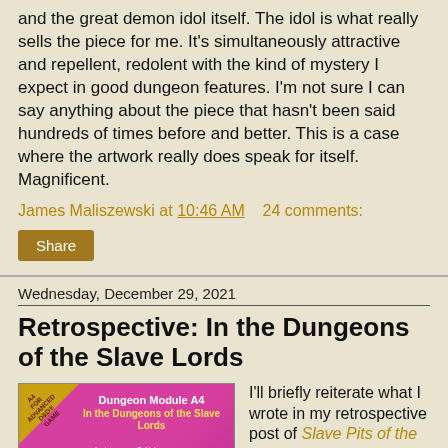and the great demon idol itself. The idol is what really sells the piece for me. It's simultaneously attractive and repellent, redolent with the kind of mystery I expect in good dungeon features. I'm not sure I can say anything about the piece that hasn't been said hundreds of times before and better. This is a case where the artwork really does speak for itself. Magnificent.
James Maliszewski at 10:46 AM    24 comments:
Share
Wednesday, December 29, 2021
Retrospective: In the Dungeons of the Slave Lords
[Figure (photo): Cover of Dungeon Module A4 'In the Dungeons of the Slave Lords' by Lawrence Schick, an adventure for character levels 4-7, for Advanced D&D game. Pink/magenta cover with yellow text and a triangular A4 badge in the corner.]
I'll briefly reiterate what I wrote in my retrospective post of Slave Pits of the Undercit...